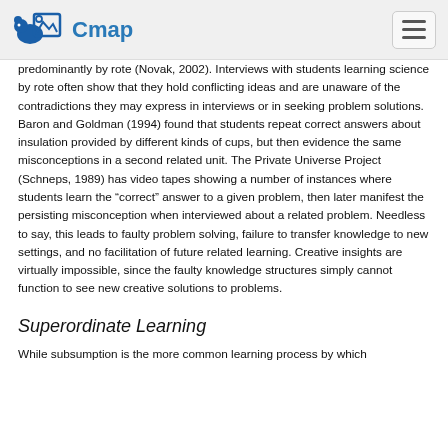Cmap
predominantly by rote (Novak, 2002). Interviews with students learning science by rote often show that they hold conflicting ideas and are unaware of the contradictions they may express in interviews or in seeking problem solutions. Baron and Goldman (1994) found that students repeat correct answers about insulation provided by different kinds of cups, but then evidence the same misconceptions in a second related unit. The Private Universe Project (Schneps, 1989) has video tapes showing a number of instances where students learn the “correct” answer to a given problem, then later manifest the persisting misconception when interviewed about a related problem. Needless to say, this leads to faulty problem solving, failure to transfer knowledge to new settings, and no facilitation of future related learning. Creative insights are virtually impossible, since the faulty knowledge structures simply cannot function to see new creative solutions to problems.
Superordinate Learning
While subsumption is the more common learning process by which